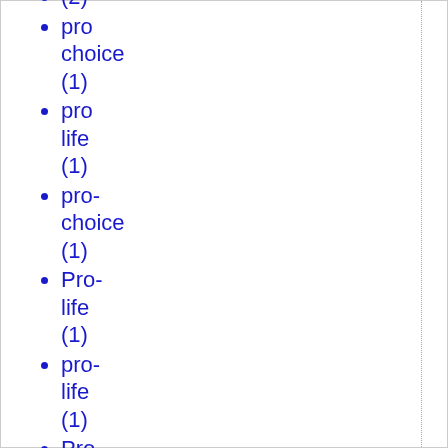pro choice (1)
pro life (1)
pro-choice (1)
Pro-life (1)
pro-life (1)
Pro-Life movement (1)
pro-life suites (4)
problem of